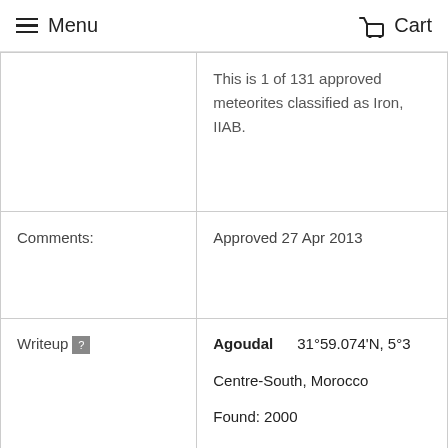≡ Menu  Cart
|  |  |
| --- | --- |
|  | This is 1 of 131 approved meteorites classified as Iron, IIAB. |
| Comments: | Approved 27 Apr 2013 |
| Writeup | Agoudal  31°59.074'N, 5°3...
Centre-South, Morocco
Found: 2000
Classification: Iron meteorite (IIAB)
History: (H. Chennaoui Aoudjehane, M. |